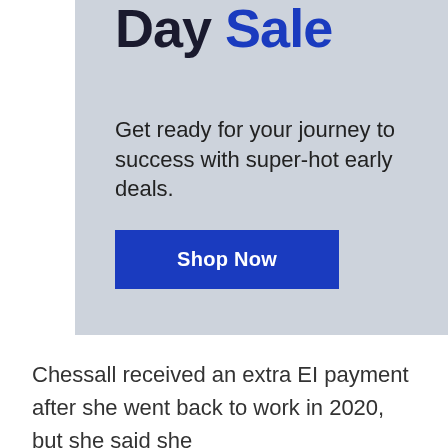Day Sale
Get ready for your journey to success with super-hot early deals.
Shop Now
Chessall received an extra EI payment after she went back to work in 2020, but she said she